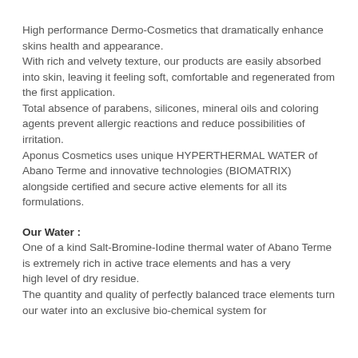High performance Dermo-Cosmetics that dramatically enhance skins health and appearance. With rich and velvety texture, our products are easily absorbed into skin, leaving it feeling soft, comfortable and regenerated from the first application. Total absence of parabens, silicones, mineral oils and coloring agents prevent allergic reactions and reduce possibilities of irritation. Aponus Cosmetics uses unique HYPERTHERMAL WATER of Abano Terme and innovative technologies (BIOMATRIX) alongside certified and secure active elements for all its formulations.
Our Water :
One of a kind Salt-Bromine-Iodine thermal water of Abano Terme is extremely rich in active trace elements and has a very high level of dry residue. The quantity and quality of perfectly balanced trace elements turn our water into an exclusive bio-chemical system for